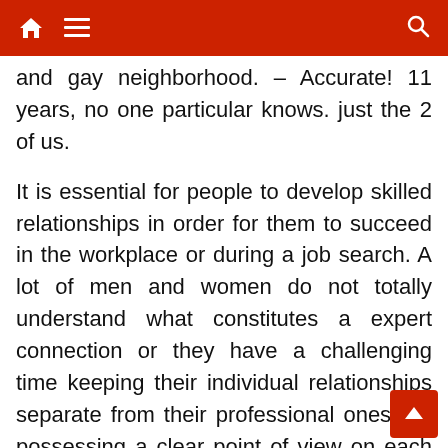Navigation bar with home, menu, and search icons
and gay neighborhood. – Accurate! 11 years, no one particular knows. just the 2 of us.
It is essential for people to develop skilled relationships in order for them to succeed in the workplace or during a job search. A lot of men and women do not totally understand what constitutes a expert connection or they have a challenging time keeping their individual relationships separate from their professional ones. By possessing a clear point of view on each varieties of relationships you will have a higher chance in succeeding in your specialist lif